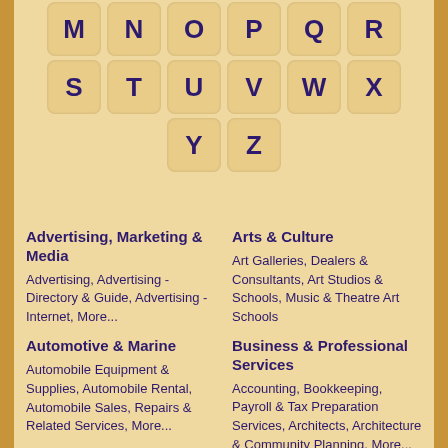[Figure (other): Letter navigation tiles showing M N O P Q R, S T U V W X, Y Z in rounded square tiles on beige background]
Advertising, Marketing & Media
Advertising, Advertising - Directory & Guide, Advertising - Internet, More...
Arts & Culture
Art Galleries, Dealers & Consultants, Art Studios & Schools, Music & Theatre Art Schools
Automotive & Marine
Automobile Equipment & Supplies, Automobile Rental, Automobile Sales, Repairs & Related Services, More...
Business & Professional Services
Accounting, Bookkeeping, Payroll & Tax Preparation Services, Architects, Architecture & Community Planning, More...